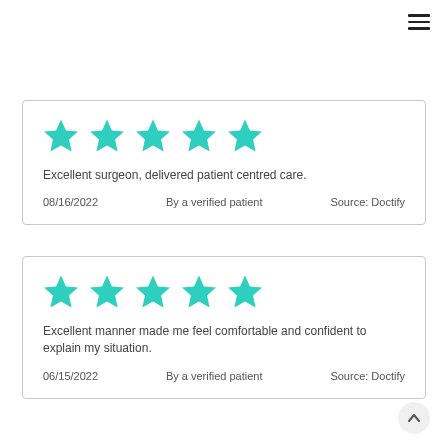☰ hamburger menu
Excellent surgeon, delivered patient centred care. 08/16/2022 By a verified patient Source: Doctify
Excellent manner made me feel comfortable and confident to explain my situation. 06/15/2022 By a verified patient Source: Doctify